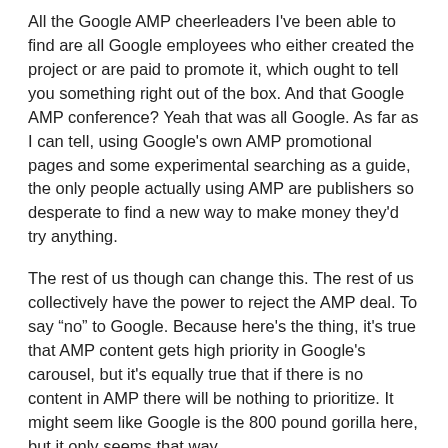All the Google AMP cheerleaders I've been able to find are all Google employees who either created the project or are paid to promote it, which ought to tell you something right out of the box. And that Google AMP conference? Yeah that was all Google. As far as I can tell, using Google's own AMP promotional pages and some experimental searching as a guide, the only people actually using AMP are publishers so desperate to find a new way to make money they'd try anything.
The rest of us though can change this. The rest of us collectively have the power to reject the AMP deal. To say “no” to Google. Because here's the thing, it's true that AMP content gets high priority in Google's carousel, but it's equally true that if there is no content in AMP there will be nothing to prioritize. It might seem like Google is the 800 pound gorilla here, but it only seems that way.
As I've said before the power of the web lies in its decentralization, it lies with its edge nodes — that is, with